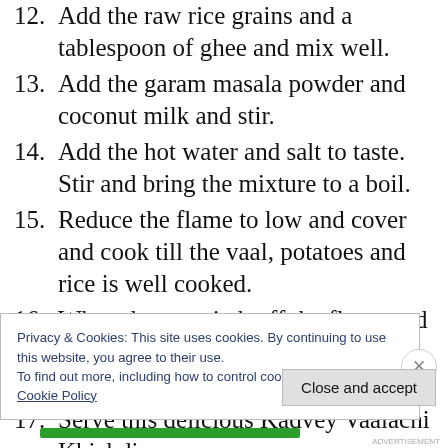12. Add the raw rice grains and a tablespoon of ghee and mix well.
13. Add the garam masala powder and coconut milk and stir.
14. Add the hot water and salt to taste. Stir and bring the mixture to a boil.
15. Reduce the flame to low and cover and cook till the vaal, potatoes and rice is well cooked.
16. When done, switch off the flame and garnish with chopped coriander leaves.
17. Serve this delicious Kadvey Vaalachi Khichdi
Privacy & Cookies: This site uses cookies. By continuing to use this website, you agree to their use.
To find out more, including how to control cookies, see here: Cookie Policy
Close and accept